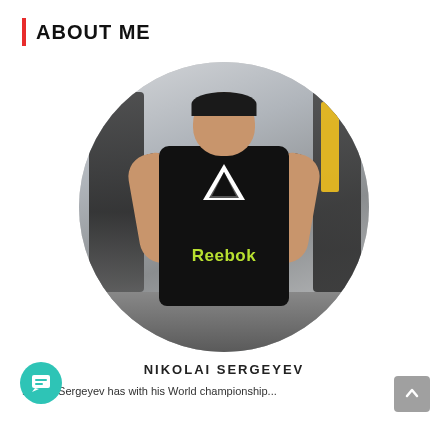ABOUT ME
[Figure (photo): Circular cropped photo of Nikolai Sergeyev, a muscular man wearing a black Reebok t-shirt with the Reebok delta logo, standing in a gym with equipment visible in the background.]
NIKOLAI SERGEYEV
Nikolai Sergeyev has with his World championship...